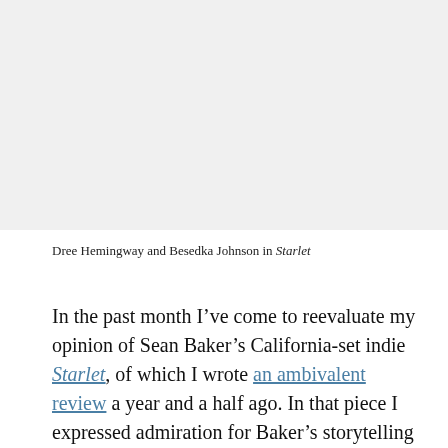[Figure (photo): A light gray placeholder rectangle representing a still image from the film Starlet, showing Dree Hemingway and Besedka Johnson.]
Dree Hemingway and Besedka Johnson in Starlet
In the past month I’ve come to reevaluate my opinion of Sean Baker’s California-set indie Starlet, of which I wrote an ambivalent review a year and a half ago. In that piece I expressed admiration for Baker’s storytelling savvy but underrated the movie’s cultural